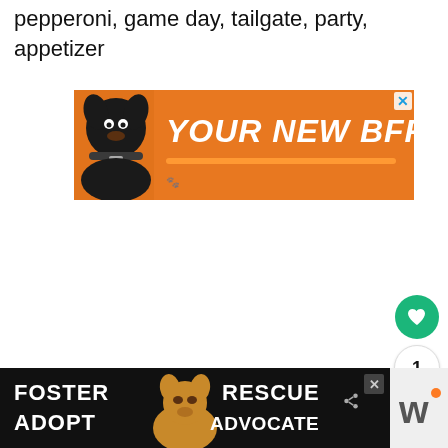pepperoni, game day, tailgate, party, appetizer
[Figure (illustration): Orange advertisement banner with a black dog and text 'YOUR NEW BFF' in bold white letters on orange background with orange underline]
[Figure (infographic): Side UI buttons: green heart/like button, count showing '1', and a share button with share icon]
[Figure (illustration): Footer advertisement banner with dark background showing 'FOSTER ADOPT' on left, a beagle dog in center, and 'RESCUE ADVOCATE' on right, with a close X button. Adjacent white panel shows stylized 'w' logo.]